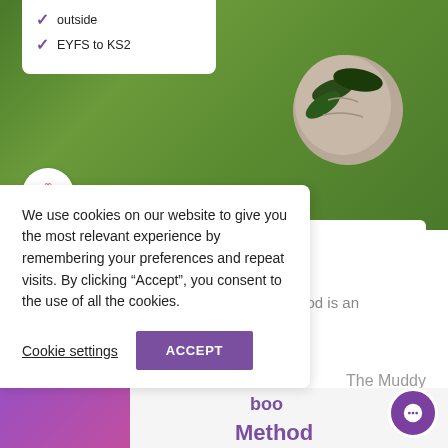[Figure (photo): Green grass background with a clay sculpture and leaves, MPT logo watermark in bottom left. Info box top-left shows checkmarks for 'outside' and 'EYFS to KS2'.]
Crafty Clay Method
Jan 17, 2022
Crafty Clay Method The Craft Clay Method is an
The Muddy
We use cookies on our website to give you the most relevant experience by remembering your preferences and repeat visits. By clicking “Accept”, you consent to the use of all the cookies.
Cookie settings
ACCEPT
boo
Method